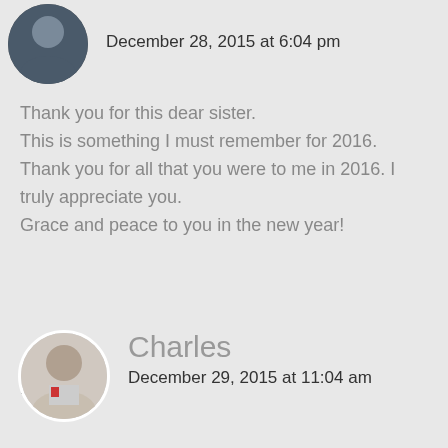December 28, 2015 at 6:04 pm
Thank you for this dear sister. This is something I must remember for 2016. Thank you for all that you were to me in 2016. I truly appreciate you. Grace and peace to you in the new year!
Reply
Charles
December 29, 2015 at 11:04 am